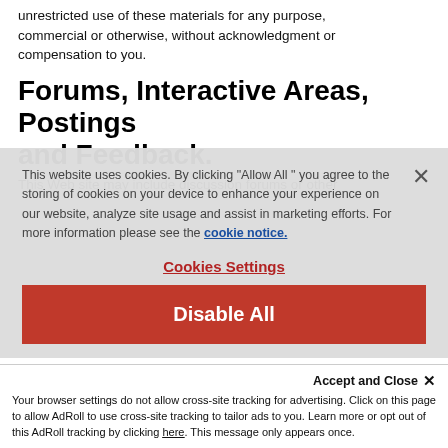unrestricted use of these materials for any purpose, commercial or otherwise, without acknowledgment or compensation to you.
Forums, Interactive Areas, Postings and Feedback.
This Web site may include discussion forums or other
This website uses cookies. By clicking "Allow All " you agree to the storing of cookies on your device to enhance your experience on our website, analyze site usage and assist in marketing efforts. For more information please see the cookie notice.
Cookies Settings
Disable All
Accept and Close ✕
Your browser settings do not allow cross-site tracking for advertising. Click on this page to allow AdRoll to use cross-site tracking to tailor ads to you. Learn more or opt out of this AdRoll tracking by clicking here. This message only appears once.